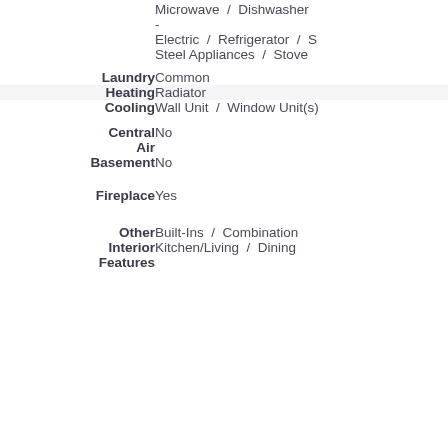| Field | Value |
| --- | --- |
|  | Microwave / Dishwasher
-
Electric / Refrigerator / Steel Appliances / Stove |
| Laundry | Common |
| Heating | Radiator |
| Cooling | Wall Unit / Window Unit(s) |
| Central Air | No |
| Basement | No |
| Fireplace | Yes |
| Other Interior Features | Built-Ins / Combination Kitchen/Living / Dining |